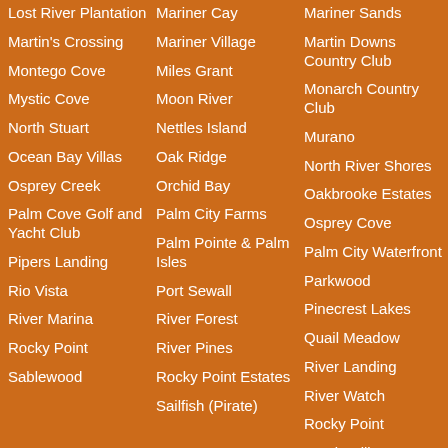Lost River Plantation
Martin's Crossing
Montego Cove
Mystic Cove
North Stuart
Ocean Bay Villas
Osprey Creek
Palm Cove Golf and Yacht Club
Pipers Landing
Rio Vista
River Marina
Rocky Point
Sablewood
Mariner Cay
Mariner Village
Miles Grant
Moon River
Nettles Island
Oak Ridge
Orchid Bay
Palm City Farms
Palm Pointe & Palm Isles
Port Sewall
River Forest
River Pines
Rocky Point Estates
Sailfish (Pirate)
Mariner Sands
Martin Downs Country Club
Monarch Country Club
Murano
North River Shores
Oakbrooke Estates
Osprey Cove
Palm City Waterfront
Parkwood
Pinecrest Lakes
Quail Meadow
River Landing
River Watch
Rustic Hills Waterfront
Sailfish Point